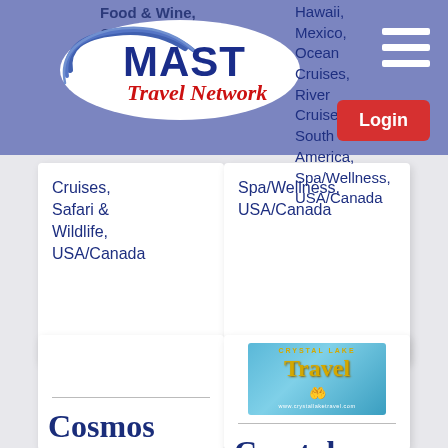[Figure (logo): MAST Travel Network logo — circular blue swoosh with white MAST text and red 'Travel Network' script]
Food & Wine, Group Travel
Hawaii, Mexico, Ocean Cruises, River Cruises, South America, Spa/Wellness, USA/Canada
Cruises, Safari & Wildlife, USA/Canada
[Figure (other): Hamburger menu icon (three white horizontal lines)]
[Figure (other): Red Login button]
Cosmo
[Figure (logo): Crystal Lake Travel logo on beach background]
Crystal